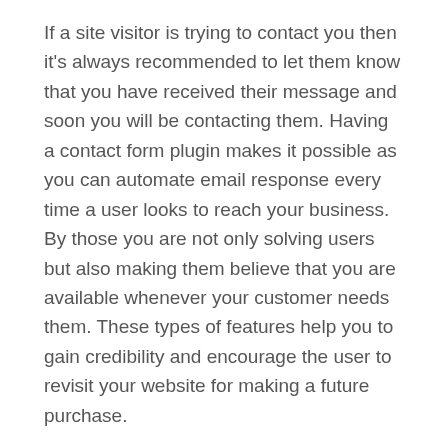If a site visitor is trying to contact you then it's always recommended to let them know that you have received their message and soon you will be contacting them. Having a contact form plugin makes it possible as you can automate email response every time a user looks to reach your business. By those you are not only solving users but also making them believe that you are available whenever your customer needs them. These types of features help you to gain credibility and encourage the user to revisit your website for making a future purchase.
5. Makes you available 24X7
Contact forms also make you available to take queries at all times. Today in the